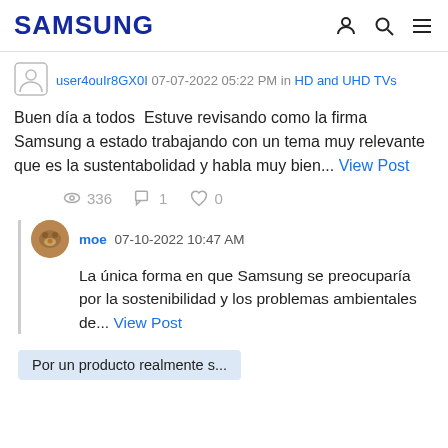SAMSUNG
user4ouIr8GX0I 07-07-2022 05:22 PM in HD and UHD TVs
Buen día a todos  Estuve revisando como la firma Samsung a estado trabajando con un tema muy relevante que es la sustentabolidad y habla muy bien... View Post
336  1  0
moe 07-10-2022 10:47 AM
La única forma en que Samsung se preocuparía por la sostenibilidad y los problemas ambientales de... View Post
Por un producto realmente s...